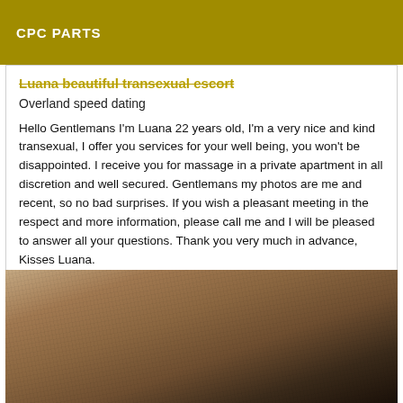CPC PARTS
Luana beautiful transexual escort
Overland speed dating
Hello Gentlemans I'm Luana 22 years old, I'm a very nice and kind transexual, I offer you services for your well being, you won't be disappointed. I receive you for massage in a private apartment in all discretion and well secured. Gentlemans my photos are me and recent, so no bad surprises. If you wish a pleasant meeting in the respect and more information, please call me and I will be pleased to answer all your questions. Thank you very much in advance, Kisses Luana.
[Figure (photo): Close-up photo of a person's torso/back area with textured skin, wearing dark leather clothing]